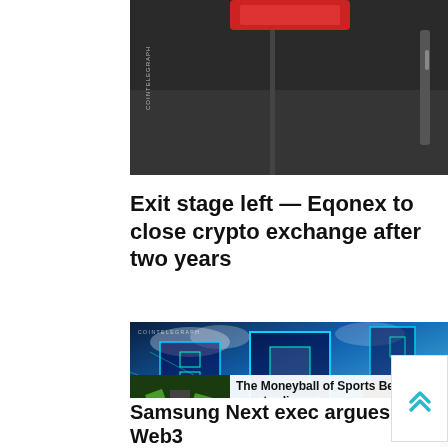[Figure (photo): Top portion of a photo showing a dark building/sign exterior, appears to be a Cointelegraph branded image]
Exit stage left — Eqonex to close crypto exchange after two years
[Figure (illustration): Cointelegraph illustration showing a person standing with hands on hips looking at glowing neon-lit futuristic buildings/cityscape in blue and cyan tones. An ad overlay shows 'The Moneyball of Sports Betting is now trading,...' with Sponsored | Learn more about Champion... text.]
Samsung Next exec argues Web3